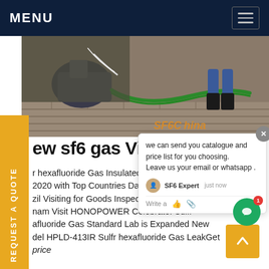MENU
[Figure (photo): Photo of SF6 gas equipment/machinery on a brick outdoor surface, with a person's legs visible. SF6China watermark in orange at bottom right.]
REQUEST A QUOTE
ew sf6 gas Vietnam
r hexafluoride Gas Insulated Transformer from 2020 with Top Countries Da m zil Visiting for Goods Inspection C om nam Visit HONOPOWER Celebrate! Sulfr afluoride Gas Standard Lab is Expanded New del HPLD-413IR Sulfr hexafluoride Gas LeakGet price
we can send you catalogue and price list for you choosing.
Leave us your email or whatsapp .
SF6 Expert   just now
Write a